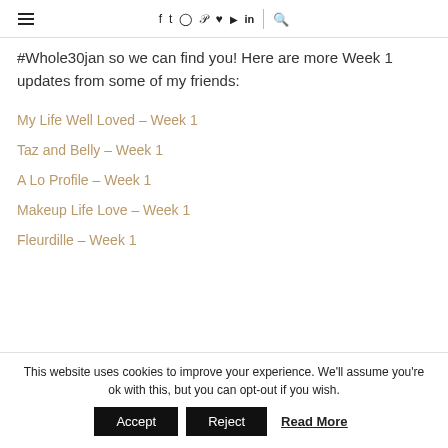☰ f t ⊙ p ♥ ▶ in | 🔍
#Whole30jan so we can find you! Here are more Week 1 updates from some of my friends:
My Life Well Loved – Week 1
Taz and Belly – Week 1
A Lo Profile – Week 1
Makeup Life Love – Week 1
Fleurdille – Week 1
This website uses cookies to improve your experience. We'll assume you're ok with this, but you can opt-out if you wish. Accept Reject Read More